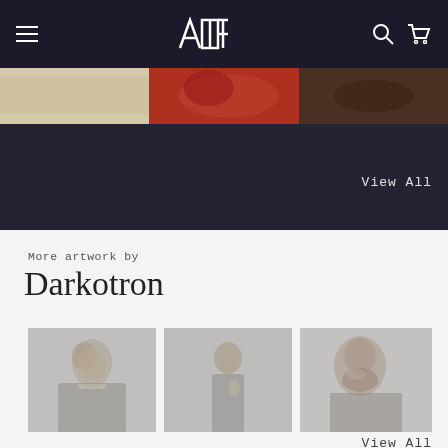[Figure (screenshot): Website navigation bar with hamburger menu on left, geometric art logo (ADT) in center, search and cart icons on right, dark navy background]
[Figure (photo): Horizontal strip of three artwork image previews: a beige/tan painting, a red-toned painting, and a dark brown painting]
View All
More artwork by
Darkotron
[Figure (photo): Muted portrait painting of a woman in dark clothing, desaturated/washed out]
[Figure (photo): Muted portrait painting of a standing man in dark suit, desaturated/washed out]
[Figure (photo): Muted portrait painting of a bearded man, desaturated/washed out, partially cropped]
View All